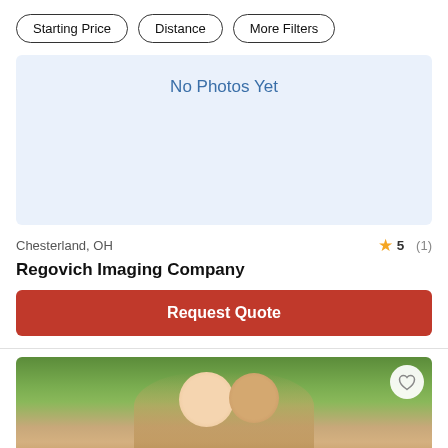Starting Price
Distance
More Filters
[Figure (other): Light blue placeholder box with text 'No Photos Yet']
Chesterland, OH
5 (1)
Regovich Imaging Company
Request Quote
[Figure (photo): Wedding couple photo - a blonde woman and a man with short hair outdoors with green trees in background. Heart/favorite button visible in upper right corner.]